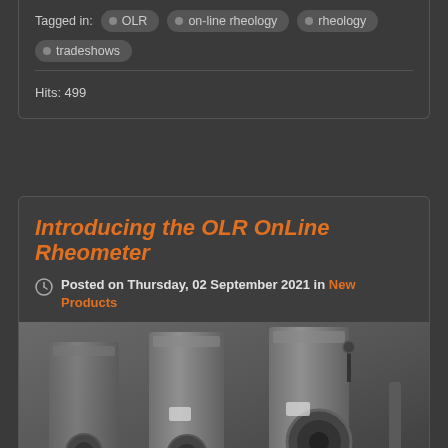Tagged in: OLR  on-line rheology  rheology  tradeshows
Hits: 499
Introducing the OLR OnLine Rheometer
Posted on Thursday, 02 September 2021 in New Products
[Figure (photo): Photo of OLR OnLine Rheometer devices, multiple grey metal cylindrical units with mechanical fittings, displayed on a table]